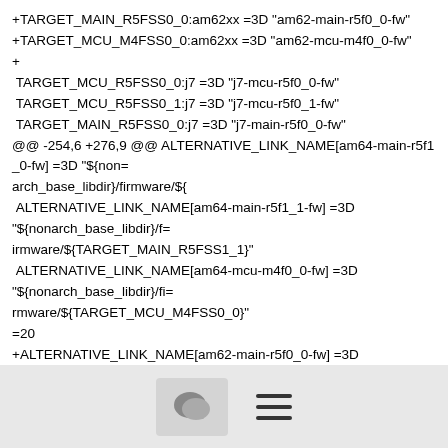+TARGET_MAIN_R5FSS0_0:am62xx =3D "am62-main-r5f0_0-fw"
+TARGET_MCU_M4FSS0_0:am62xx =3D "am62-mcu-m4f0_0-fw"
+
 TARGET_MCU_R5FSS0_0:j7 =3D "j7-mcu-r5f0_0-fw"
 TARGET_MCU_R5FSS0_1:j7 =3D "j7-mcu-r5f0_1-fw"
 TARGET_MAIN_R5FSS0_0:j7 =3D "j7-main-r5f0_0-fw"
@@ -254,6 +276,9 @@ ALTERNATIVE_LINK_NAME[am64-main-r5f1_0-fw] =3D "${non=
arch_base_libdir}/firmware/${
 ALTERNATIVE_LINK_NAME[am64-main-r5f1_1-fw] =3D
"${nonarch_base_libdir}/f=
irmware/${TARGET_MAIN_R5FSS1_1}"
 ALTERNATIVE_LINK_NAME[am64-mcu-m4f0_0-fw] =3D
"${nonarch_base_libdir}/fi=
rmware/${TARGET_MCU_M4FSS0_0}"
=20
+ALTERNATIVE_LINK_NAME[am62-main-r5f0_0-fw] =3D
[Figure (other): Footer bar with chat bubble icon button and hamburger menu icon]